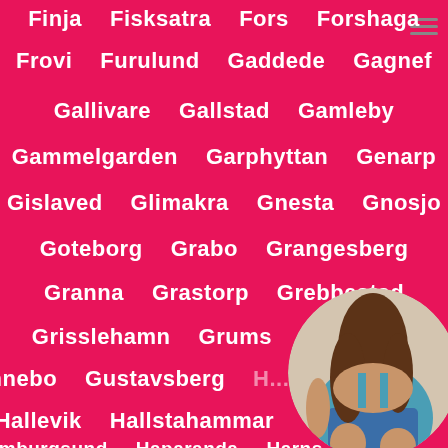Finja  Fisksatra  Fors  Forshaga
Frovi  Furulund  Gaddede  Gagnef
Gallivare  Gallstad  Gamleby
Gammelgarden  Garphyttan  Genarp
Gislaved  Glimakra  Gnesta  Gnosjo
Goteborg  Grabo  Grangesberg
Granna  Grastorp  Grebbestad
Grisslehamn  Grums  Grythyttan
Gunnebo  Gustavsberg  H...
Hallevik  Hallstahammar  ...
Hamburgsund  Haparanda  Harnstad
[Figure (photo): Circular photo of a person in a teal/denim outfit, seated, viewed from behind/side, bottom-right corner of page]